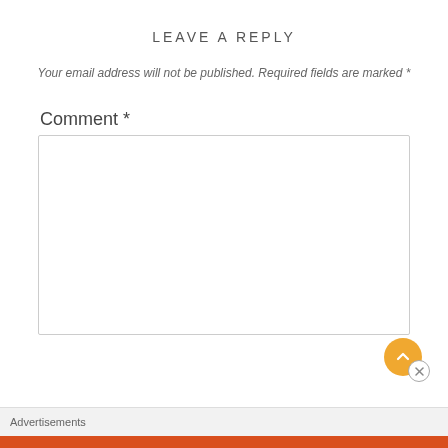LEAVE A REPLY
Your email address will not be published. Required fields are marked *
Comment *
[Figure (other): Empty comment textarea input box with light gray border]
[Figure (other): Orange circular scroll-to-top button with chevron up arrow, with a white close (X) button overlapping bottom-right]
Advertisements